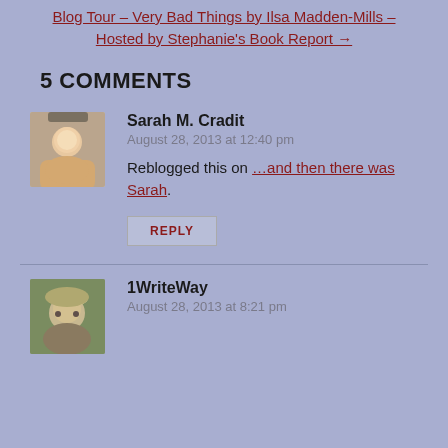Blog Tour – Very Bad Things by Ilsa Madden-Mills – Hosted by Stephanie's Book Report →
5 COMMENTS
Sarah M. Cradit
August 28, 2013 at 12:40 pm
Reblogged this on …and then there was Sarah.
REPLY
1WriteWay
August 28, 2013 at 8:21 pm